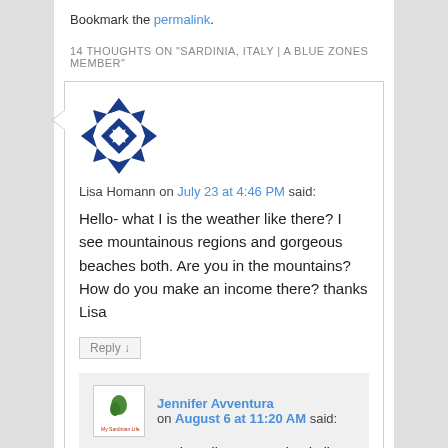Bookmark the permalink.
14 THOUGHTS ON "SARDINIA, ITALY | A BLUE ZONES MEMBER"
Lisa Homann on July 23 at 4:46 PM said:
Hello- what I is the weather like there? I see mountainous regions and gorgeous beaches both. Are you in the mountains? How do you make an income there? thanks Lisa
Reply ↓
Jennifer Avventura on August 6 at 11:20 AM said:
It's great weather all year round. I do live in a